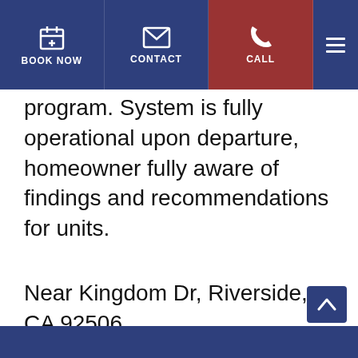BOOK NOW | CONTACT | CALL
program. System is fully operational upon departure, homeowner fully aware of findings and recommendations for units.
Near Kingdom Dr, Riverside, CA 92506